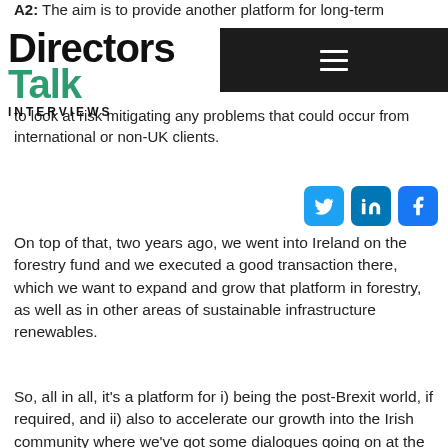A2: The aim is to provide another platform for long-term
Directors Talk Interviews
to look at risk mitigating any problems that could occur from international or non-UK clients.
On top of that, two years ago, we went into Ireland on the forestry fund and we executed a good transaction there, which we want to expand and grow that platform in forestry, as well as in other areas of sustainable infrastructure renewables.
So, all in all, it's a platform for i) being the post-Brexit world, if required, and ii) also to accelerate our growth into the Irish community where we've got some dialogues going on at the moment.
Q3: Do you think that you can mean maintain this momentum and continue to outperform the industry in asset and profit growth?
A3: Our belief is yes, and there's a couple of reasons behind